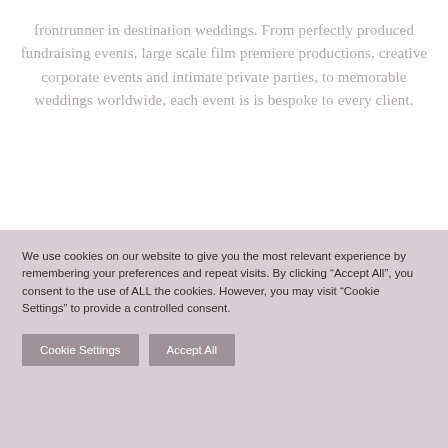frontrunner in destination weddings. From perfectly produced fundraising events, large scale film premiere productions, creative corporate events and intimate private parties, to memorable weddings worldwide, each event is is bespoke to every client.
We use cookies on our website to give you the most relevant experience by remembering your preferences and repeat visits. By clicking “Accept All”, you consent to the use of ALL the cookies. However, you may visit “Cookie Settings” to provide a controlled consent.